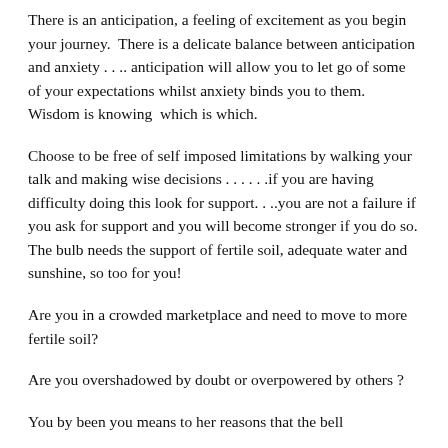There is an anticipation, a feeling of excitement as you begin your journey.  There is a delicate balance between anticipation and anxiety . . .. anticipation will allow you to let go of some of your expectations whilst anxiety binds you to them.  Wisdom is knowing  which is which.
Choose to be free of self imposed limitations by walking your talk and making wise decisions . . . . . .if you are having difficulty doing this look for support. . ..you are not a failure if you ask for support and you will become stronger if you do so. The bulb needs the support of fertile soil, adequate water and sunshine, so too for you!
Are you in a crowded marketplace and need to move to more fertile soil?
Are you overshadowed by doubt or overpowered by others ?
You by been you means to her reasons that the bell